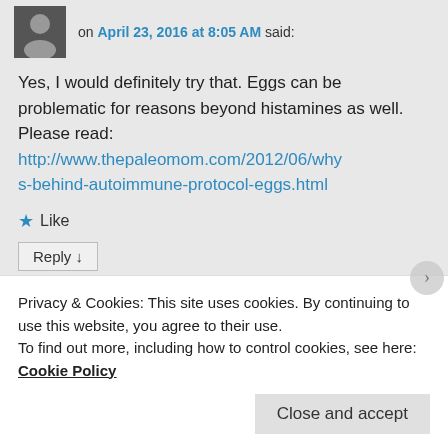on April 23, 2016 at 8:05 AM said:
Yes, I would definitely try that. Eggs can be problematic for reasons beyond histamines as well. Please read: http://www.thepaleomom.com/2012/06/whys-behind-autoimmune-protocol-eggs.html
Like
Reply ↓
osnat
on January 7, 2018 at 3:55
Privacy & Cookies: This site uses cookies. By continuing to use this website, you agree to their use.
To find out more, including how to control cookies, see here: Cookie Policy
Close and accept